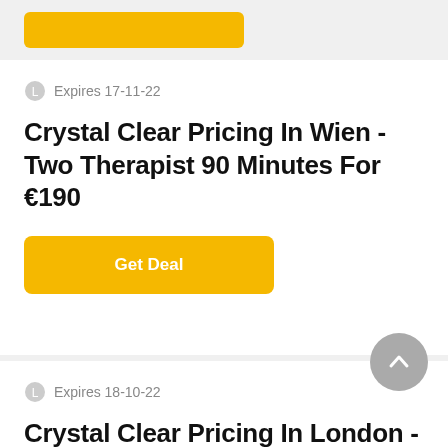[Figure (other): Yellow button/strip at top of page (partially visible)]
Expires 17-11-22
Crystal Clear Pricing In Wien - Two Therapist 90 Minutes For €190
Get Deal
Expires 18-10-22
Crystal Clear Pricing In London - One Therapist 60 Minutes For